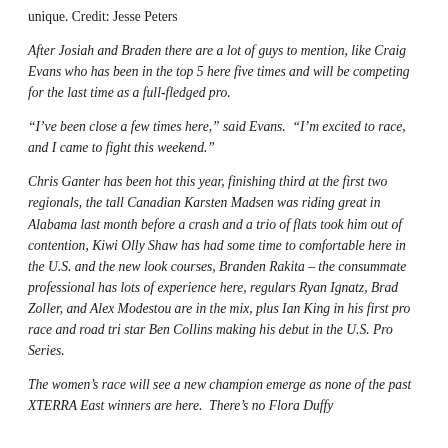unique. Credit: Jesse Peters
After Josiah and Braden there are a lot of guys to mention, like Craig Evans who has been in the top 5 here five times and will be competing for the last time as a full-fledged pro.
“I’ve been close a few times here,” said Evans.  “I’m excited to race, and I came to fight this weekend.”
Chris Ganter has been hot this year, finishing third at the first two regionals, the tall Canadian Karsten Madsen was riding great in Alabama last month before a crash and a trio of flats took him out of contention, Kiwi Olly Shaw has had some time to comfortable here in the U.S. and the new look courses, Branden Rakita – the consummate professional has lots of experience here, regulars Ryan Ignatz, Brad Zoller, and Alex Modestou are in the mix, plus Ian King in his first pro race and road tri star Ben Collins making his debut in the U.S. Pro Series.
The women’s race will see a new champion emerge as none of the past XTERRA East winners are here.  There’s no Flora Duffy